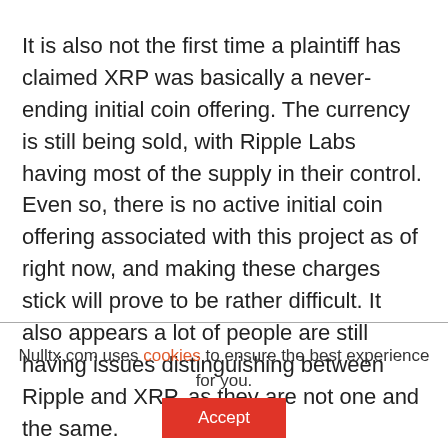It is also not the first time a plaintiff has claimed XRP was basically a never-ending initial coin offering. The currency is still being sold, with Ripple Labs having most of the supply in their control. Even so, there is no active initial coin offering associated with this project as of right now, and making these charges stick will prove to be rather difficult. It also appears a lot of people are still having issues distinguishing between Ripple and XRP, as they are not one and the same.
Nulltx.com uses cookies to ensure the best experience for you.
Accept